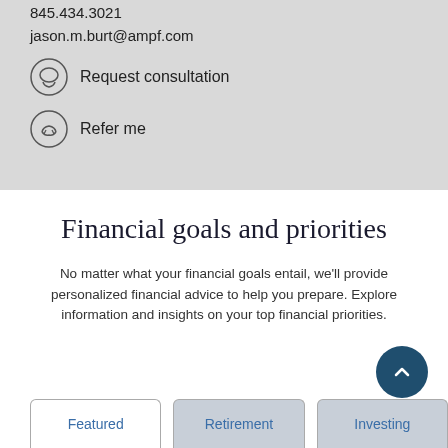845.434.3021
jason.m.burt@ampf.com
Request consultation
Refer me
Financial goals and priorities
No matter what your financial goals entail, we'll provide personalized financial advice to help you prepare. Explore information and insights on your top financial priorities.
Featured
Retirement
Investing